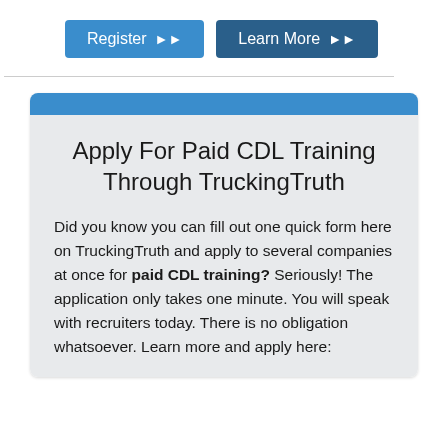[Figure (other): Two navigation buttons: 'Register' (light blue) and 'Learn More' (dark blue), each with double arrow icons]
Apply For Paid CDL Training Through TruckingTruth
Did you know you can fill out one quick form here on TruckingTruth and apply to several companies at once for paid CDL training? Seriously! The application only takes one minute. You will speak with recruiters today. There is no obligation whatsoever. Learn more and apply here: